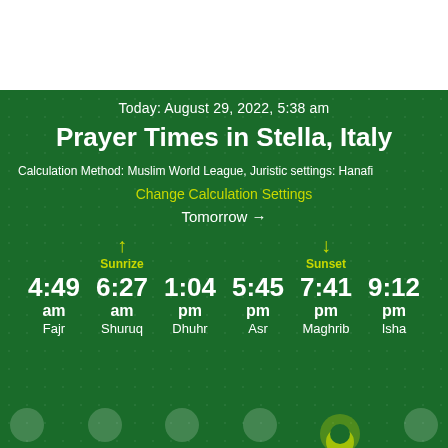Today: August 29, 2022, 5:38 am
Prayer Times in Stella, Italy
Calculation Method: Muslim World League, Juristic settings: Hanafi
Change Calculation Settings
Tomorrow →
| Fajr | Shuruq | Dhuhr | Asr | Maghrib | Isha |
| --- | --- | --- | --- | --- | --- |
| 4:49 am | 6:27 am | 1:04 pm | 5:45 pm | 7:41 pm | 9:12 pm |